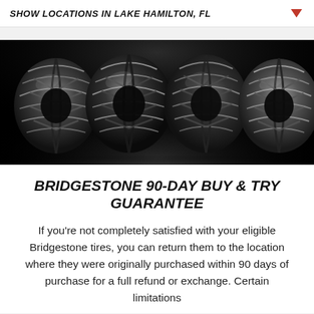SHOW LOCATIONS IN Lake Hamilton, FL
[Figure (photo): Four Bridgestone tires arranged side by side against a black background, showing tread patterns prominently.]
BRIDGESTONE 90-DAY BUY & TRY GUARANTEE
If you're not completely satisfied with your eligible Bridgestone tires, you can return them to the location where they were originally purchased within 90 days of purchase for a full refund or exchange. Certain limitations